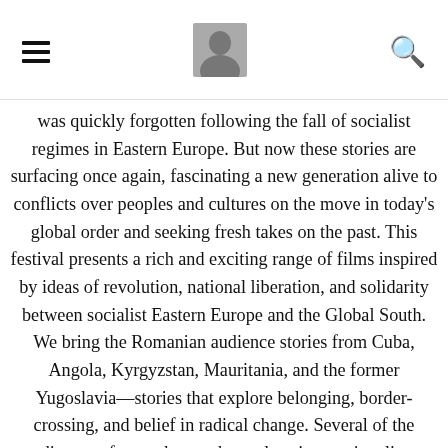[hamburger menu] [profile photo] [search icon]
was quickly forgotten following the fall of socialist regimes in Eastern Europe. But now these stories are surfacing once again, fascinating a new generation alive to conflicts over peoples and cultures on the move in today's global order and seeking fresh takes on the past. This festival presents a rich and exciting range of films inspired by ideas of revolution, national liberation, and solidarity between socialist Eastern Europe and the Global South. We bring the Romanian audience stories from Cuba, Angola, Kyrgyzstan, Mauritania, and the former Yugoslavia—stories that explore belonging, border-crossing, and belief in radical change. Several of the directors featured were themselves internationalist migrants in the socialist era—men and women from the Global South who brought their talents to the socialist East. All bring visions of socialist worlds that shatter the easy black and white categories of the Cold War and raise important questions about what it means to be international, and in solidarity, then and now.